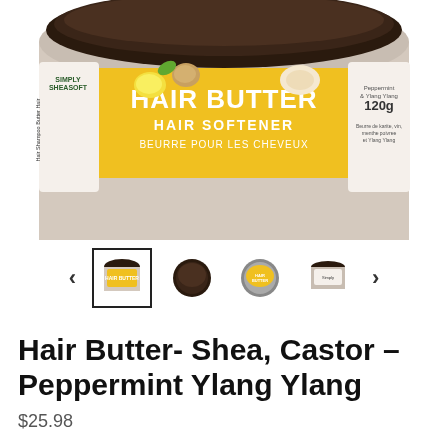[Figure (photo): Top portion of a jar of Simply Sheasoft Hair Butter Hair Softener (Beurre Pour Les Cheveux), 120g, with yellow label featuring shea butter and citrus imagery. Peppermint & Ylang Ylang scent.]
[Figure (photo): Thumbnail carousel showing four small images of the product jar from different angles, with left and right navigation arrows. The first thumbnail is highlighted with a border.]
Hair Butter- Shea, Castor – Peppermint Ylang Ylang
$25.98